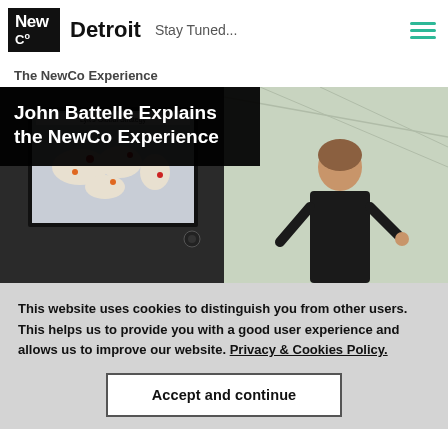NewCo Detroit — Stay Tuned...
The NewCo Experience
John Battelle Explains the NewCo Experience
[Figure (photo): A woman presenting in front of a screen showing a world map slide titled 'Lyft's Global Strategy', with a modern interior background on the right side.]
This website uses cookies to distinguish you from other users. This helps us to provide you with a good user experience and allows us to improve our website. Privacy & Cookies Policy.
Accept and continue